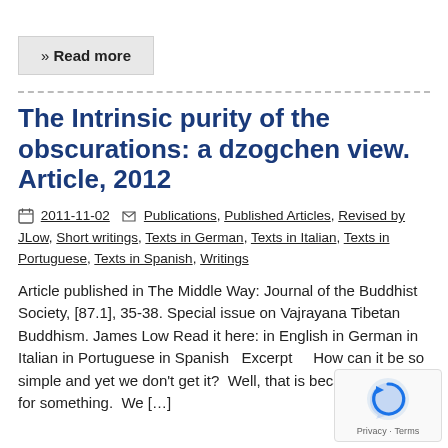» Read more
The Intrinsic purity of the obscurations: a dzogchen view. Article, 2012
2011-11-02  Publications, Published Articles, Revised by JLow, Short writings, Texts in German, Texts in Italian, Texts in Portuguese, Texts in Spanish, Writings
Article published in The Middle Way: Journal of the Buddhist Society, [87.1], 35-38. Special issue on Vajrayana Tibetan Buddhism. James Low Read it here: in English in German in Italian in Portuguese in Spanish   Excerpt    How can it be so simple and yet we don't get it?  Well, that is because looking for something.  We […]